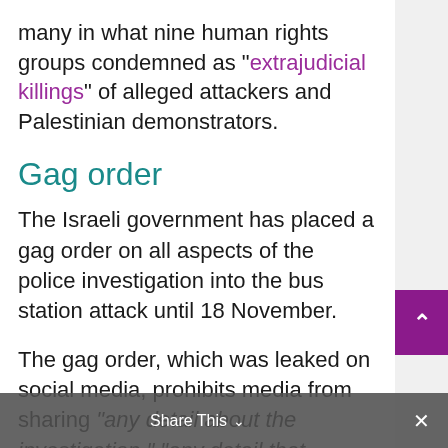many in what nine human rights groups condemned as “extrajudicial killings” of alleged attackers and Palestinian demonstrators.
Gag order
The Israeli government has placed a gag order on all aspects of the police investigation into the bus station attack until 18 November.
The gag order, which was leaked on social media, prohibits media from sharing “any detail about the investigation.” “any detail that
Share This